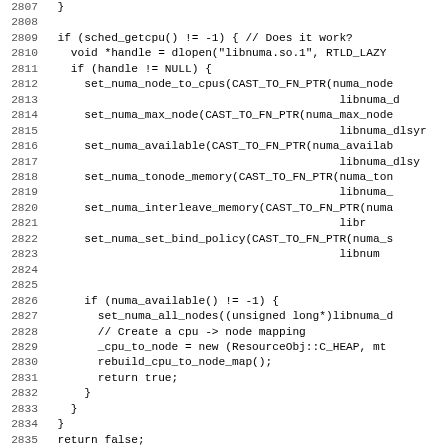Source code listing lines 2807-2837 showing C++ NUMA library initialization code with sched_getcpu, dlopen, set_numa_node_to_cpus, set_numa_max_node, set_numa_available, set_numa_tonode_memory, set_numa_interleave_memory, set_numa_set_bind_policy, numa_available check, set_numa_all_nodes, cpu_to_node mapping, rebuild_cpu_to_node_map, and return statements.